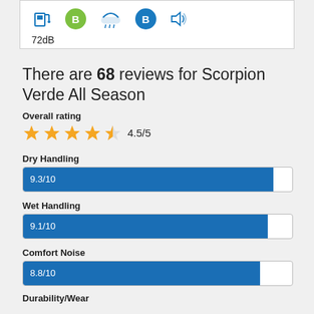[Figure (infographic): Tire label icons: fuel pump icon, green circle badge B, rain/wet grip icon, blue circle badge B, sound/noise icon. Below: 72dB text.]
72dB
There are 68 reviews for Scorpion Verde All Season
Overall rating
[Figure (infographic): 4.5 out of 5 stars rating shown with 4 full orange stars and 1 half star, followed by text 4.5/5]
Dry Handling
[Figure (bar-chart): Dry Handling]
Wet Handling
[Figure (bar-chart): Wet Handling]
Comfort Noise
[Figure (bar-chart): Comfort Noise]
Durability/Wear